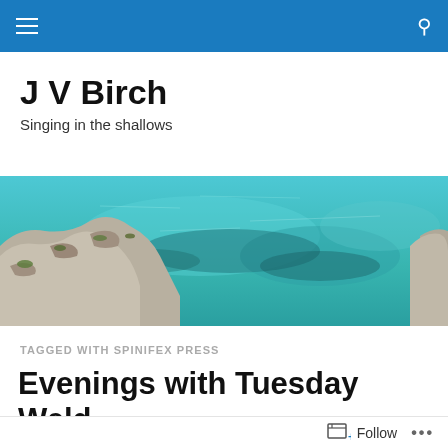J V Birch — navigation bar with hamburger menu and search icon
J V Birch
Singing in the shallows
[Figure (photo): Coastal scene showing clear turquoise shallow water with rocky limestone shoreline and reef visible through the water]
TAGGED WITH SPINIFEX PRESS
Evenings with Tuesday Weld
Follow ...